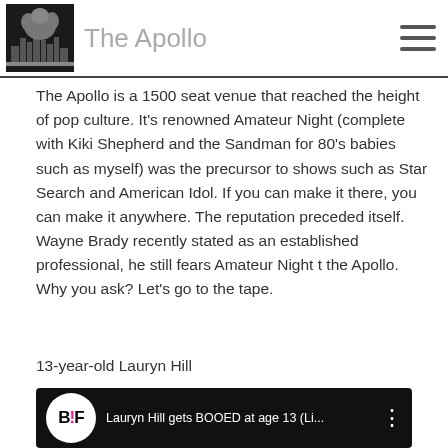The Apollo
The Apollo is a 1500 seat venue that reached the height of pop culture. It's renowned Amateur Night (complete with Kiki Shepherd and the Sandman for 80's babies such as myself) was the precursor to shows such as Star Search and American Idol. If you can make it there, you can make it anywhere. The reputation preceded itself. Wayne Brady recently stated as an established professional, he still fears Amateur Night t the Apollo. Why you ask? Let's go to the tape.
13-year-old Lauryn Hill
[Figure (screenshot): YouTube video thumbnail showing 'Lauryn Hill gets BOOED at age 13 (Li...' with BuzzFeed logo and a blurred face at the bottom]